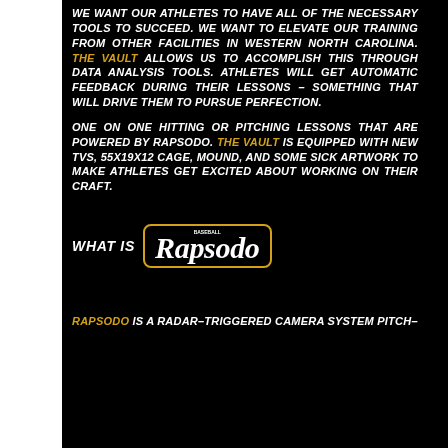We want our athletes to have all of the necessary tools to succeed. We want to elevate our training from other facilities in Western North Carolina. THE VAULT allows us to accomplish this through data analysis tools. Athletes will get automatic feedback during their lessons – something that will drive them to pursue perfection.
One on one hitting or pitching lessons that are powered by Rapsodo. THE VAULT is equipped with new TVs, 55x19x12 cage, mound, and some sick artwork to make athletes get excited about working on their craft.
What is Rapsodo
Rapsodo is a radar-triggered camera system pitch-